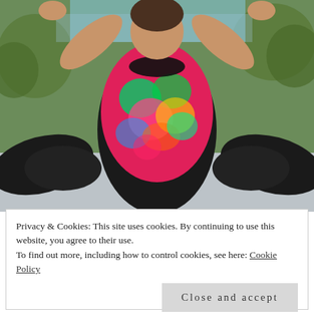[Figure (photo): A woman wearing a colorful floral-print athletic top and black leggings doing a seated stretch (butterfly/straddle position) outdoors on a concrete surface, with trees visible in the background.]
Privacy & Cookies: This site uses cookies. By continuing to use this website, you agree to their use.
To find out more, including how to control cookies, see here: Cookie Policy
Close and accept